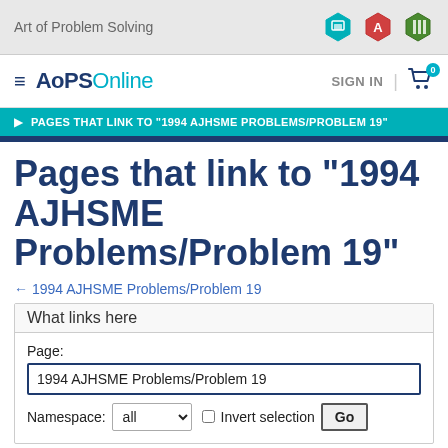Art of Problem Solving
AoPS Online | SIGN IN
PAGES THAT LINK TO "1994 AJHSME PROBLEMS/PROBLEM 19"
Pages that link to "1994 AJHSME Problems/Problem 19"
← 1994 AJHSME Problems/Problem 19
What links here
Page:
1994 AJHSME Problems/Problem 19
Namespace: all   Invert selection  Go